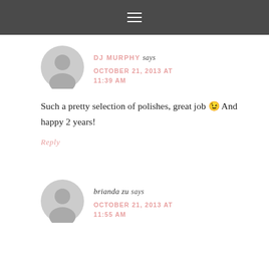≡
DJ MURPHY says
OCTOBER 21, 2013 AT 11:39 AM
Such a pretty selection of polishes, great job 😉 And happy 2 years!
Reply
brianda zu says
OCTOBER 21, 2013 AT 11:55 AM